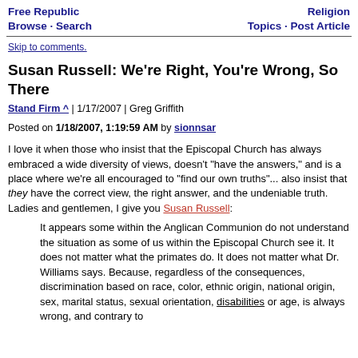Free Republic Browse · Search | Religion Topics · Post Article
Skip to comments.
Susan Russell: We're Right, You're Wrong, So There
Stand Firm ^ | 1/17/2007 | Greg Griffith
Posted on 1/18/2007, 1:19:59 AM by sionnsar
I love it when those who insist that the Episcopal Church has always embraced a wide diversity of views, doesn't "have the answers," and is a place where we're all encouraged to "find our own truths"... also insist that they have the correct view, the right answer, and the undeniable truth. Ladies and gentlemen, I give you Susan Russell:
It appears some within the Anglican Communion do not understand the situation as some of us within the Episcopal Church see it. It does not matter what the primates do. It does not matter what Dr. Williams says. Because, regardless of the consequences, discrimination based on race, color, ethnic origin, national origin, sex, marital status, sexual orientation, disabilities or age, is always wrong, and contrary to